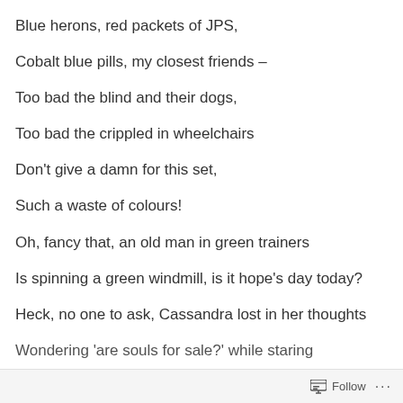Blue herons, red packets of JPS,
Cobalt blue pills, my closest friends –
Too bad the blind and their dogs,
Too bad the crippled in wheelchairs
Don't give a damn for this set,
Such a waste of colours!
Oh, fancy that, an old man in green trainers
Is spinning a green windmill, is it hope's day today?
Heck, no one to ask, Cassandra lost in her thoughts
Wondering 'are souls for sale?' while staring
Follow ...